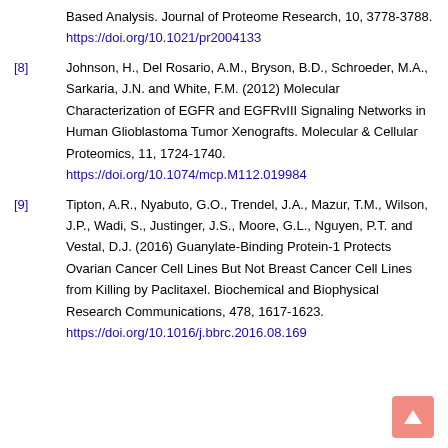Based Analysis. Journal of Proteome Research, 10, 3778-3788. https://doi.org/10.1021/pr2004133
[8] Johnson, H., Del Rosario, A.M., Bryson, B.D., Schroeder, M.A., Sarkaria, J.N. and White, F.M. (2012) Molecular Characterization of EGFR and EGFRvIII Signaling Networks in Human Glioblastoma Tumor Xenografts. Molecular & Cellular Proteomics, 11, 1724-1740. https://doi.org/10.1074/mcp.M112.019984
[9] Tipton, A.R., Nyabuto, G.O., Trendel, J.A., Mazur, T.M., Wilson, J.P., Wadi, S., Justinger, J.S., Moore, G.L., Nguyen, P.T. and Vestal, D.J. (2016) Guanylate-Binding Protein-1 Protects Ovarian Cancer Cell Lines But Not Breast Cancer Cell Lines from Killing by Paclitaxel. Biochemical and Biophysical Research Communications, 478, 1617-1623. https://doi.org/10.1016/j.bbrc.2016.08.169